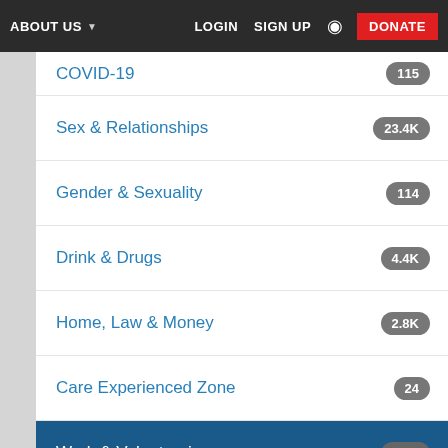ABOUT US  LOGIN  SIGN UP  DONATE
COVID-19  115
Sex & Relationships  23.4K
Gender & Sexuality  114
Drink & Drugs  4.4K
Home, Law & Money  2.8K
Care Experienced Zone  24
Work & Volunteering  2.9K
Student Life & Education  3.5K
Group Chat Announcements  2.3K
Anything Goes  40.5K
Politics & Debate  9.3K